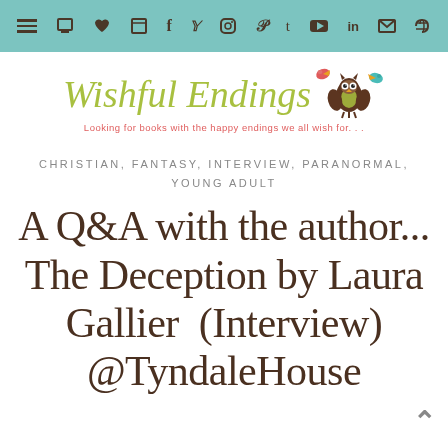[Navigation bar with menu, social media icons: cart, heart, book, facebook, twitter, instagram, pinterest, tumblr, youtube, linkedin, rss, email]
[Figure (logo): Wishful Endings blog logo — stylized cursive green text 'Wishful Endings' with illustrated owl and two birds, subtitle: 'Looking for books with the happy endings we all wish for...']
CHRISTIAN, FANTASY, INTERVIEW, PARANORMAL, YOUNG ADULT
A Q&A with the author... The Deception by Laura Gallier (Interview) @TyndaleHouse